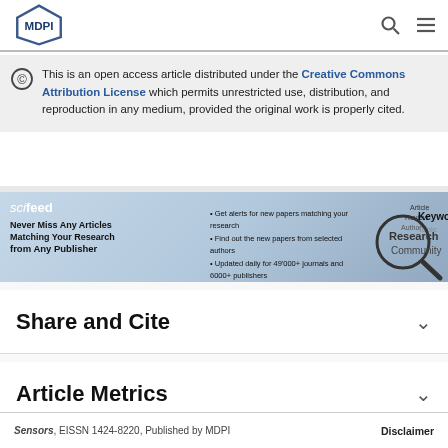MDPI
This is an open access article distributed under the Creative Commons Attribution License which permits unrestricted use, distribution, and reproduction in any medium, provided the original work is properly cited.
[Figure (infographic): Scifeed banner advertisement: 'scifeed - Never Miss Any Articles Matching Your Research from Any Publisher'. Bullet points: Get alerts for new papers matching your research, Find out the new papers from selected authors, Updated daily for 49000+ journals and 6000+ publishers. Shows magnifying glass with keywords like Article, Review, Author, Research, Community, Keyword, Topic.]
Share and Cite
Article Metrics
Sensors, EISSN 1424-8220, Published by MDPI    Disclaimer